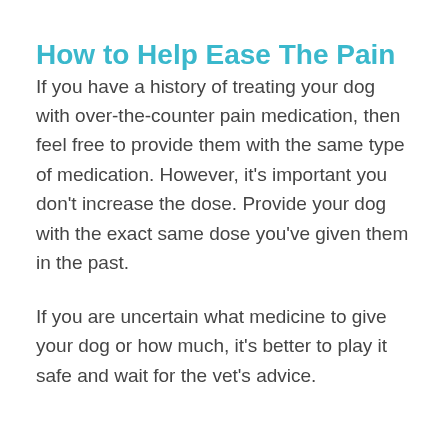How to Help Ease The Pain
If you have a history of treating your dog with over-the-counter pain medication, then feel free to provide them with the same type of medication. However, it's important you don't increase the dose. Provide your dog with the exact same dose you've given them in the past.
If you are uncertain what medicine to give your dog or how much, it's better to play it safe and wait for the vet's advice.